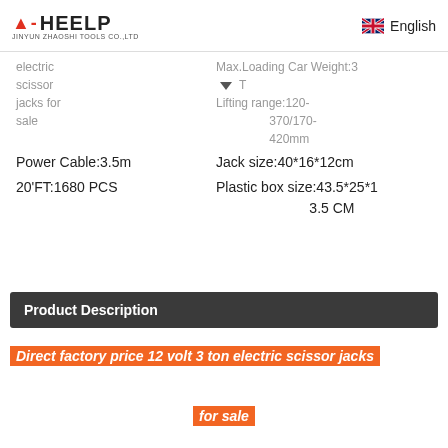HEELP / JINYUN ZHAOSHI TOOLS CO.,LTD — English
electric scissor jacks for sale   Max.Loading Car Weight:3 T   Lifting range:120-370/170-420mm
Power Cable:3.5m   Jack size:40*16*12cm
20'FT:1680 PCS   Plastic box size:43.5*25*13.5 CM
Product Description
Direct factory price 12 volt 3 ton electric scissor jacks
for sale